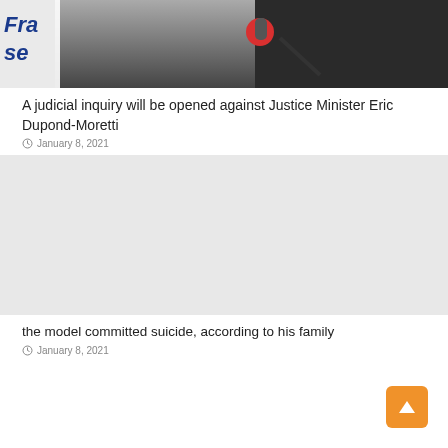[Figure (photo): A man in a dark suit speaking at a microphone, holding an object, with a partial banner visible showing 'Fra' and 'se' in blue text. Background is dark.]
A judicial inquiry will be opened against Justice Minister Eric Dupond-Moretti
January 8, 2021
[Figure (photo): Second article image placeholder, light gray background.]
the model committed suicide, according to his family
January 8, 2021